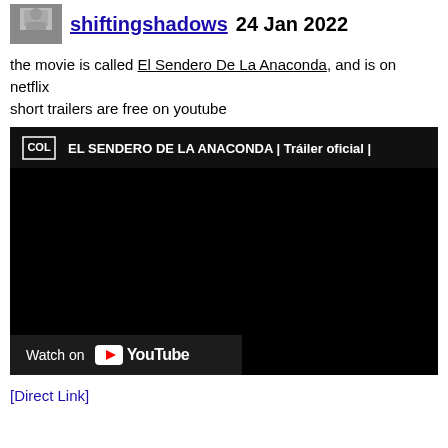shiftingshadows 24 Jan 2022
the movie is called El Sendero De La Anaconda, and is on netflix
short trailers are free on youtube
[Figure (screenshot): Embedded YouTube video thumbnail for 'EL SENDERO DE LA ANACONDA | Tráiler oficial |' with COL channel logo, black video frame, and Watch on YouTube button overlay.]
[Direct Link]